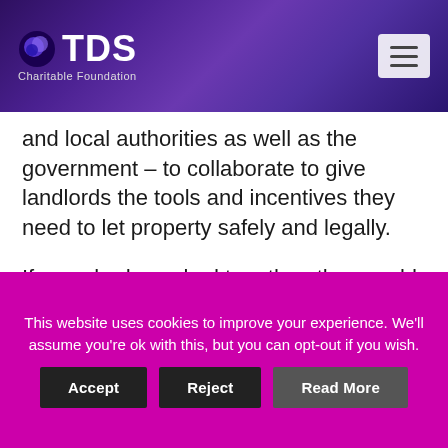TDS Charitable Foundation
and local authorities as well as the government – to collaborate to give landlords the tools and incentives they need to let property safely and legally.
If everybody worked together, they could promote trusted and consistent sources of information about preparing a property to let legally, about changes in the law, property maintenance and, of course, where to turn for independent, qualified advice.
This website uses cookies to improve your experience. We'll assume you're ok with this, but you can opt-out if you wish. Accept Reject Read More